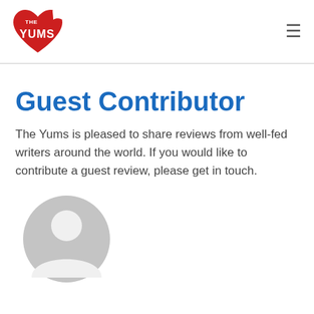The Yums — navigation header with logo and hamburger menu
Guest Contributor
The Yums is pleased to share reviews from well-fed writers around the world. If you would like to contribute a guest review, please get in touch.
[Figure (illustration): Generic user avatar icon — a grey circle with a silhouette of a person (head and shoulders)]